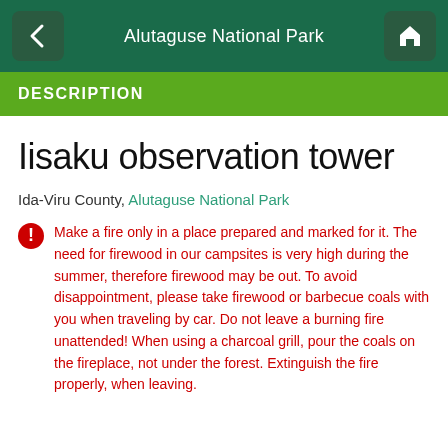Alutaguse National Park
DESCRIPTION
Iisaku observation tower
Ida-Viru County, Alutaguse National Park
Make a fire only in a place prepared and marked for it. The need for firewood in our campsites is very high during the summer, therefore firewood may be out. To avoid disappointment, please take firewood or barbecue coals with you when traveling by car. Do not leave a burning fire unattended! When using a charcoal grill, pour the coals on the fireplace, not under the forest. Extinguish the fire properly, when leaving.